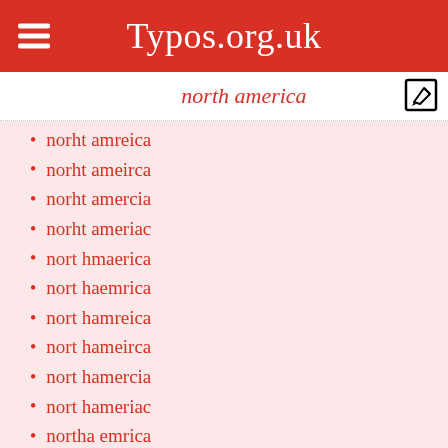Typos.org.uk
north america
norht amreica
norht ameirca
norht amercia
norht ameriac
nort hmaerica
nort haemrica
nort hamreica
nort hameirca
nort hamercia
nort hameriac
northa emrica
northa mreica
northa meirca
northa mercia
northa meriac
north mareica
north maeirca
north maercia
north maeriac
north aemirca